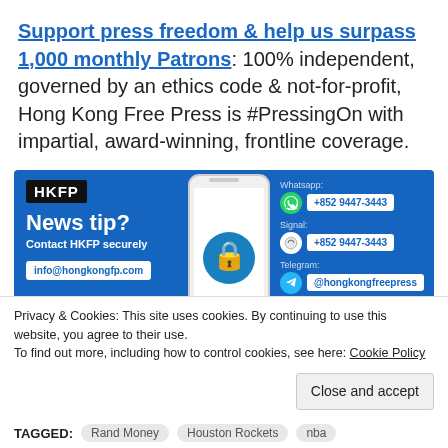Support press freedom & help us surpass 1,000 monthly Patrons: 100% independent, governed by an ethics code & not-for-profit, Hong Kong Free Press is #PressingOn with impartial, award-winning, frontline coverage.
[Figure (infographic): HKFP news tip banner showing a smartphone with a lock icon, WhatsApp +852 9447-3443, Signal +852 9447-3443, Telegram @hongkongfreepress, and info@hongkongfp.com contact details on a blue background.]
Privacy & Cookies: This site uses cookies. By continuing to use this website, you agree to their use. To find out more, including how to control cookies, see here: Cookie Policy
Close and accept
TAGGED: Rand Money Houston Rockets nba